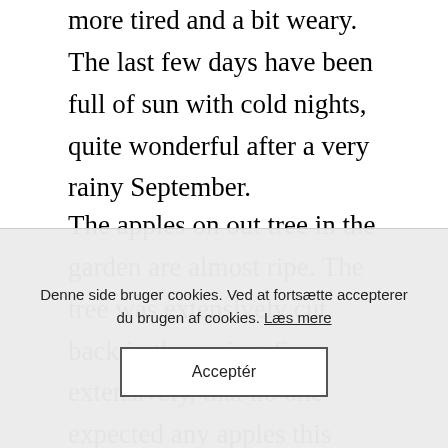more tired and a bit weary. The last few days have been full of sun with cold nights, quite wonderful after a very rainy September.
The apples on out tree in the garden are almost ripe. The tree was extensively cut back in the spring. So extensively, that no one expected any apples this year. But Mother Nature has her own ways, the apples are actually bigger and juicier this year. They are not suitable for eating, however they make a
Denne side bruger cookies. Ved at fortsætte accepterer du brugen af cookies. Læs mere
Acceptér